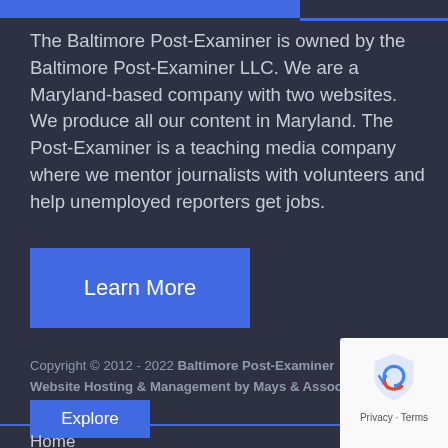The Baltimore Post-Examiner is owned by the Baltimore Post-Examiner LLC. We are a Maryland-based company with two websites. We produce all our content in Maryland. The Post-Examiner is a teaching media company where we mentor journalists with volunteers and help unemployed reporters get jobs.
Learn More
Copyright © 2012 - 2022 Baltimore Post-Examiner Website Hosting & Management by Mays & Associates
Explore
Home
[Figure (logo): reCAPTCHA badge with shield logo icon and Privacy/Terms links]